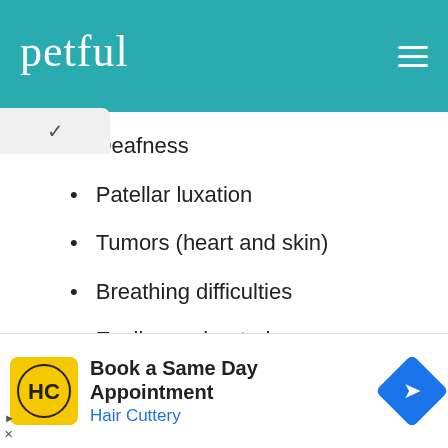petful
Deafness
Patellar luxation
Tumors (heart and skin)
Breathing difficulties
Easily overheated
Snoring
Drooling
[Figure (other): Advertisement banner: Book a Same Day Appointment — Hair Cuttery, with HC logo and navigation arrow icon]